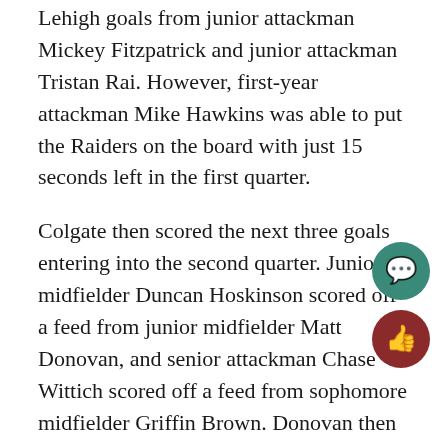Lehigh goals from junior attackman Mickey Fitzpatrick and junior attackman Tristan Rai. However, first-year attackman Mike Hawkins was able to put the Raiders on the board with just 15 seconds left in the first quarter.
Colgate then scored the next three goals entering into the second quarter. Junior midfielder Duncan Hoskinson scored off a feed from junior midfielder Matt Donovan, and senior attackman Chase Wittich scored off a feed from sophomore midfielder Griffin Brown. Donovan then tallied an unassisted goal to pull the Raiders ahead 4-2 with 8:44 left in the second quarter.
The Mountain Hawks answered back just a minute later as senior attackman John Mehok buried a shot following an assist from Rai. In response, Junior attackman Sam Cleveland put up another quick point for the Raiders. Lehigh tallied two more goals to bring the game to a 5- before the halftime break.